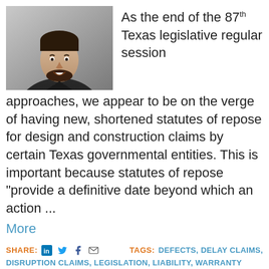[Figure (photo): Professional headshot of a man in a dark suit and red tie, smiling, with a grey background.]
As the end of the 87th Texas legislative regular session approaches, we appear to be on the verge of having new, shortened statutes of repose for design and construction claims by certain Texas governmental entities. This is important because statutes of repose “provide a definitive date beyond which an action ...
More
SHARE:  in  🐦  f  ✉  TAGS: DEFECTS, DELAY CLAIMS, DISRUPTION CLAIMS, LEGISLATION, LIABILITY, WARRANTY